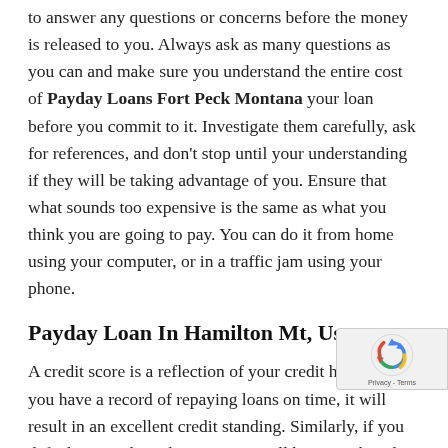to answer any questions or concerns before the money is released to you. Always ask as many questions as you can and make sure you understand the entire cost of Payday Loans Fort Peck Montana your loan before you commit to it. Investigate them carefully, ask for references, and don't stop until your understanding if they will be taking advantage of you. Ensure that what sounds too expensive is the same as what you think you are going to pay. You can do it from home using your computer, or in a traffic jam using your phone.
Payday Loan In Hamilton Mt, Usa
A credit score is a reflection of your credit history. If you have a record of repaying loans on time, it will result in an excellent credit standing. Similarly, if you default or pay late, the situations will be exacerbated. Lenders use the credit score to determine your creditworthiness and may impose higher interests or even refuse to cooperate with high-risk borrowers. You can find lending organizations that report